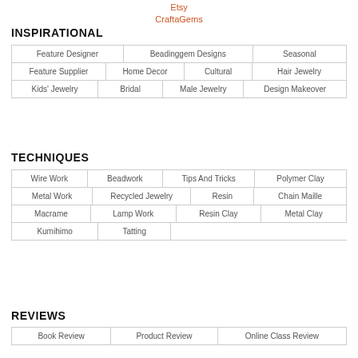Etsy
CraftaGems
INSPIRATIONAL
| Feature Designer | Beadinggem Designs | Seasonal |
| Feature Supplier | Home Decor | Cultural | Hair Jewelry |
| Kids' Jewelry | Bridal | Male Jewelry | Design Makeover |
TECHNIQUES
| Wire Work | Beadwork | Tips And Tricks | Polymer Clay |
| Metal Work | Recycled Jewelry | Resin | Chain Maille |
| Macrame | Lamp Work | Resin Clay | Metal Clay |
| Kumihimo | Tatting |
REVIEWS
| Book Review | Product Review | Online Class Review |